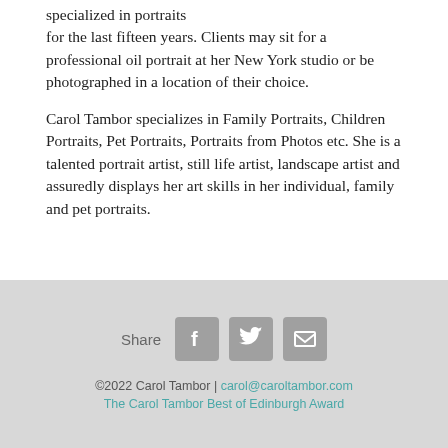specialized in portraits for the last fifteen years. Clients may sit for a professional oil portrait at her New York studio or be photographed in a location of their choice.
Carol Tambor specializes in Family Portraits, Children Portraits, Pet Portraits, Portraits from Photos etc. She is a talented portrait artist, still life artist, landscape artist and assuredly displays her art skills in her individual, family and pet portraits.
Share [Facebook] [Twitter] [Email] ©2022 Carol Tambor | carol@caroltambor.com The Carol Tambor Best of Edinburgh Award